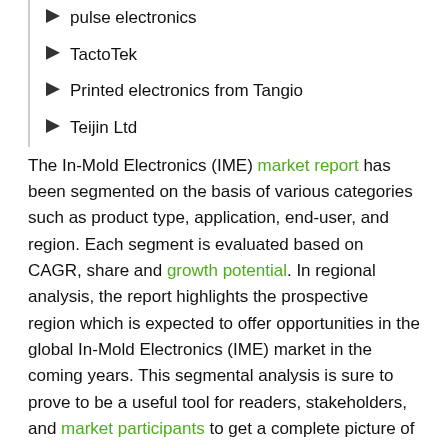pulse electronics
TactoTek
Printed electronics from Tangio
Teijin Ltd
The In-Mold Electronics (IME) market report has been segmented on the basis of various categories such as product type, application, end-user, and region. Each segment is evaluated based on CAGR, share and growth potential. In regional analysis, the report highlights the prospective region which is expected to offer opportunities in the global In-Mold Electronics (IME) market in the coming years. This segmental analysis is sure to prove to be a useful tool for readers, stakeholders, and market participants to get a complete picture of the global In-Mold Electronics (IME) market and its growth potential in the years to come.